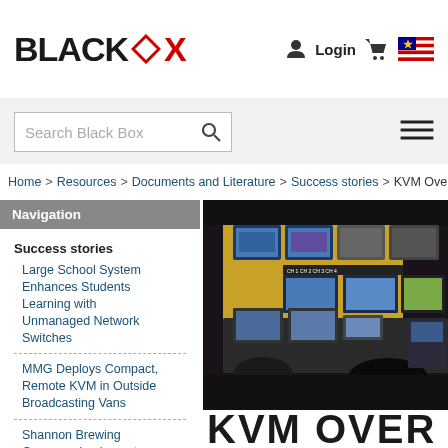BLACK BOX — Login, Cart, Malaysia flag
[Figure (screenshot): Black Box website header with logo, login, cart, and Malaysia flag]
[Figure (screenshot): Search bar with 'Search Black Box' placeholder and hamburger menu icon]
Home > Resources > Documents and Literature > Success stories > KVM Over IP
Navigation
Success stories
Large School System Enhances Students Learning with Unmanaged Network Switches
MMG Deploys Compact, Remote KVM in Outside Broadcasting Vans
Shannon Brewing Company Implements Complete AVIoT Solution
NOAA Enables Real-Time Collaboration with
[Figure (photo): Broadcast control room with multiple monitors displaying video feeds and camera inputs]
KVM OVER